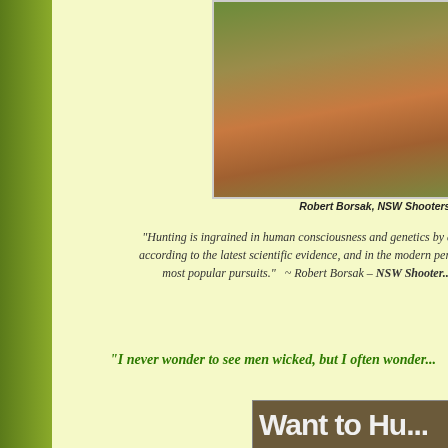[Figure (photo): Photo of Robert Borsak and a dead elephant, with a person in camouflage uniform kneeling beside it.]
Robert Borsak, NSW Shooters & Fishe...
“Hunting is ingrained in human consciousness and genetics by at l... according to the latest scientific evidence, and in the modern perspe... most popular pursuits.”  ~ Robert Borsak – NSW Shooter...
“I never wonder to see men wicked, but I often wonder...
[Figure (photo): Advertisement or flyer with text 'Want to Hu...' (Want to Hunt) on a brown background.]